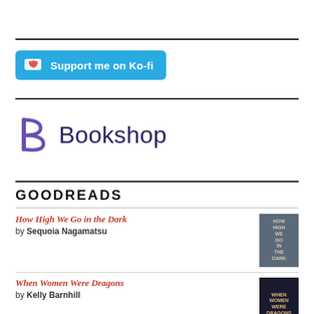[Figure (logo): Ko-fi support button — cyan/blue rounded button with heart-in-cup icon and text 'Support me on Ko-fi']
[Figure (logo): Bookshop logo — stylized purple B letter followed by the word 'Bookshop' in dark purple sans-serif]
GOODREADS
How High We Go in the Dark by Sequoia Nagamatsu
When Women Were Dragons by Kelly Barnhill